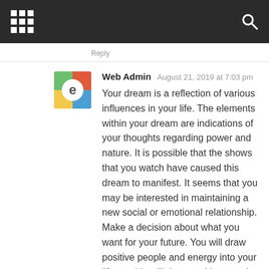Reply
Web Admin   August 21, 2019 at 7:03 pm
Your dream is a reflection of various influences in your life. The elements within your dream are indications of your thoughts regarding power and nature. It is possible that the shows that you watch have caused this dream to manifest. It seems that you may be interested in maintaining a new social or emotional relationship. Make a decision about what you want for your future. You will draw positive people and energy into your life, as this will draw positive people and energy into your life. Have a great day, Peter!
Reply